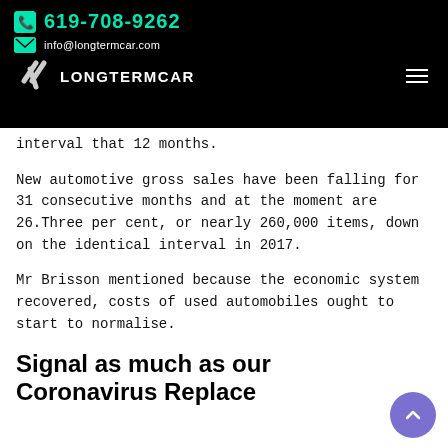619-708-9262 | info@longtermcar.com | LONGTERMCAR
interval that 12 months.
New automotive gross sales have been falling for 31 consecutive months and at the moment are 26.Three per cent, or nearly 260,000 items, down on the identical interval in 2017.
Mr Brisson mentioned because the economic system recovered, costs of used automobiles ought to start to normalise.
Signal as much as our Coronavirus Replace